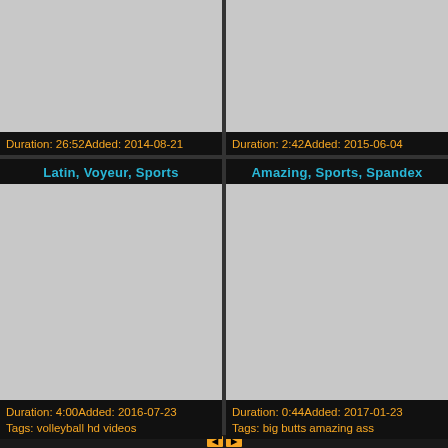[Figure (screenshot): Top-left video card thumbnail (gray placeholder), duration 26:52, added 2014-08-21]
[Figure (screenshot): Top-right video card thumbnail (gray placeholder), duration 2:42, added 2015-06-04]
Latin, Voyeur, Sports
[Figure (screenshot): Bottom-left video card thumbnail (gray placeholder), duration 4:00, added 2016-07-23, tags: volleyball hd videos]
Amazing, Sports, Spandex
[Figure (screenshot): Bottom-right video card thumbnail (gray placeholder), duration 0:44, added 2017-01-23, tags: big butts amazing ass]